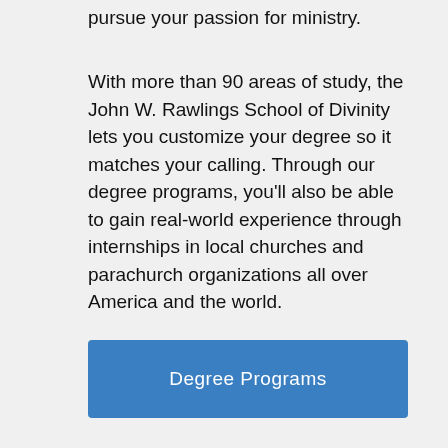pursue your passion for ministry.
With more than 90 areas of study, the John W. Rawlings School of Divinity lets you customize your degree so it matches your calling. Through our degree programs, you’ll also be able to gain real-world experience through internships in local churches and parachurch organizations all over America and the world.
Degree Programs
[Figure (photo): Night photo of a church tower with blue lighting, surrounded by white bokeh light circles against a dark blue sky background.]